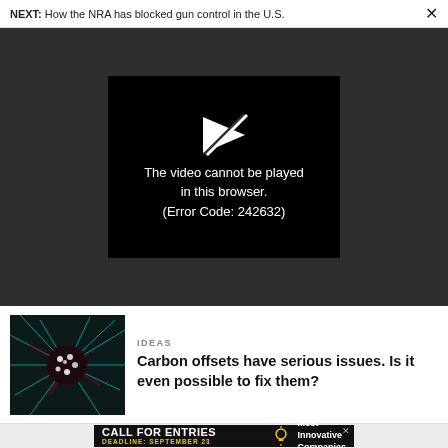NEXT: How the NRA has blocked gun control in the U.S.
[Figure (screenshot): Video player showing error message: The video cannot be played in this browser. (Error Code: 242632)]
IDEAS
Carbon offsets have serious issues. Is it even possible to fix them?
[Figure (photo): Thumbnail image of a colorful microscopic/abstract organism with teal and red tones]
[Figure (infographic): Advertisement banner: CALL FOR ENTRIES, DEADLINE: SEPTEMBER 23, Most Innovative Companies]